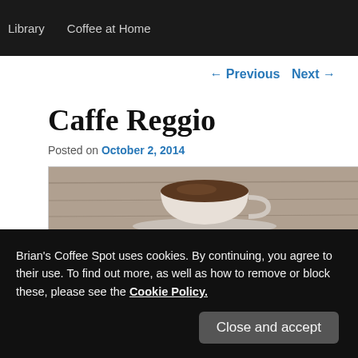Library   Coffee at Home
← Previous   Next →
Caffe Reggio
Posted on October 2, 2014
[Figure (photo): Overhead photo of a coffee cup on a wooden surface]
I've been visiting Caffe Reggio, a Greenwich Village
Brian's Coffee Spot uses cookies. By continuing, you agree to their use. To find out more, as well as how to remove or block these, please see the Cookie Policy.